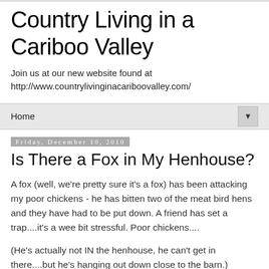Country Living in a Cariboo Valley
Join us at our new website found at http://www.countrylivinginacariboovalley.com/
Home ▼
Friday, December 10, 2010
Is There a Fox in My Henhouse?
A fox (well, we're pretty sure it's a fox) has been attacking my poor chickens - he has bitten two of the meat bird hens and they have had to be put down. A friend has set a trap....it's a wee bit stressful. Poor chickens....
(He's actually not IN the henhouse, he can't get in there....but he's hanging out down close to the barn.)